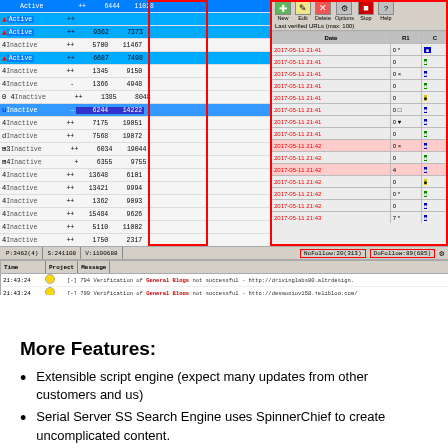[Figure (screenshot): Software application screenshot showing a link management tool with two panels highlighted by red boxes. Left panel shows a table of URLs with status (Active/Inactive), numeric values, and counts. Right panel shows a toolbar with New/Edit/Delete/Options/Stop/Help buttons and a date log table with timestamps '2017-05-11 21:41/42/43'. A log panel at the bottom shows verification messages. Status bars show P:3462(4), S:241108, V:1100588, NoFollow:20(313), DoFollow:89(685). Bottom bar shows T:110, S:27175, V:6895, P:200, LpM:44.81, C:13370-1397, Max:607MB, CPU:1%.]
More Features:
Extensible script engine (expect many updates from other customers and us)
Serial Server SS Search Engine uses SpinnerChief to create uncomplicated content.